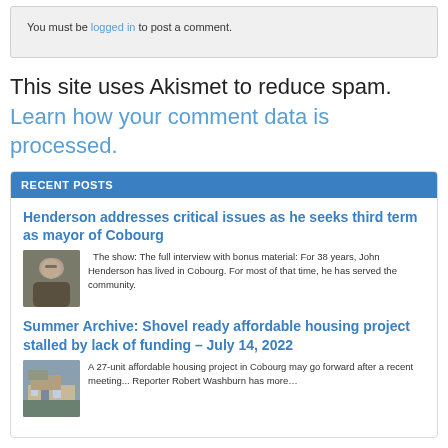You must be logged in to post a comment.
This site uses Akismet to reduce spam. Learn how your comment data is processed.
RECENT POSTS
Henderson addresses critical issues as he seeks third term as mayor of Cobourg
[Figure (photo): Portrait photo of John Henderson, a man wearing glasses]
The show: The full interview with bonus material: For 38 years, John Henderson has lived in Cobourg. For most of that time, he has served the community.
Summer Archive: Shovel ready affordable housing project stalled by lack of funding – July 14, 2022
[Figure (photo): Photo of a building, affordable housing project]
A 27-unit affordable housing project in Cobourg may go forward after a recent meeting... Reporter Robert Washburn has more…